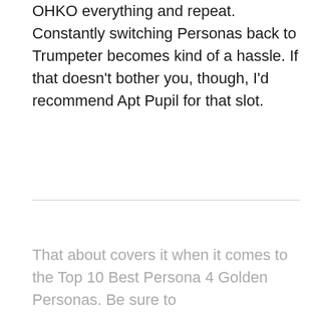OHKO everything and repeat. Constantly switching Personas back to Trumpeter becomes kind of a hassle. If that doesn't bother you, though, I'd recommend Apt Pupil for that slot.
That about covers it when it comes to the Top 10 Best Persona 4 Golden Personas. Be sure to